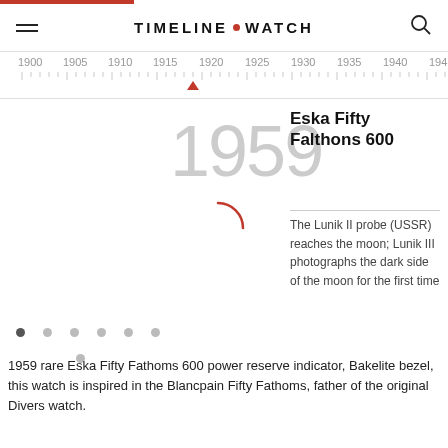TIMELINE • WATCH
[Figure (infographic): Horizontal timeline ruler showing years 1900 to 1940+ with tick marks and a red triangle marker at approximately 1919]
1959
Eska Fifty Falthons 600
[Figure (infographic): Red partial circle loading spinner icon]
The Lunik II probe (USSR) reaches the moon; Lunik III photographs the dark side of the moon for the first time
1959 rare Eska Fifty Fathoms 600 power reserve indicator, Bakelite bezel, this watch is inspired in the Blancpain Fifty Fathoms, father of the original Divers watch.